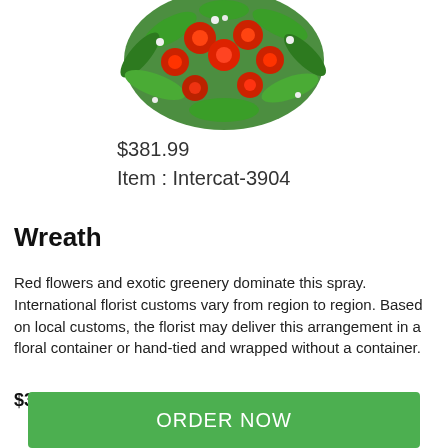[Figure (photo): Floral wreath arrangement with red flowers and exotic greenery, partially visible at the top of the page]
$381.99
Item : Intercat-3904
Wreath
Red flowers and exotic greenery dominate this spray. International florist customs vary from region to region. Based on local customs, the florist may deliver this arrangement in a floral container or hand-tied and wrapped without a container.
$381.99
ORDER NOW